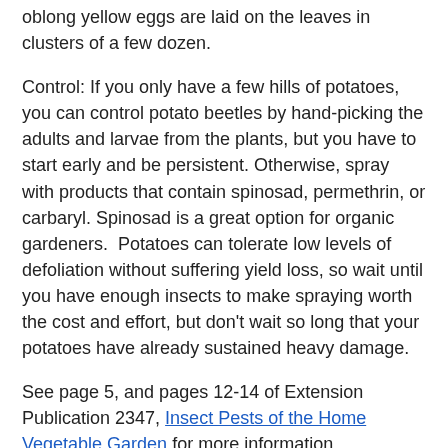oblong yellow eggs are laid on the leaves in clusters of a few dozen.
Control: If you only have a few hills of potatoes, you can control potato beetles by hand-picking the adults and larvae from the plants, but you have to start early and be persistent. Otherwise, spray with products that contain spinosad, permethrin, or carbaryl. Spinosad is a great option for organic gardeners. Potatoes can tolerate low levels of defoliation without suffering yield loss, so wait until you have enough insects to make spraying worth the cost and effort, but don't wait so long that your potatoes have already sustained heavy damage.
See page 5, and pages 12-14 of Extension Publication 2347, Insect Pests of the Home Vegetable Garden for more information.
Blake Layton, Extension Entomology Specialist